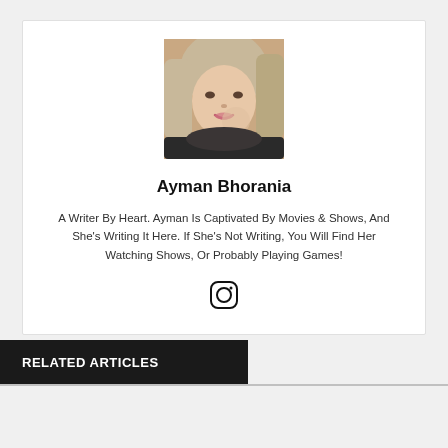[Figure (photo): Profile photo of Ayman Bhorania, a young woman with blonde hair resting her chin on her hand, smiling]
Ayman Bhorania
A Writer By Heart. Ayman Is Captivated By Movies & Shows, And She's Writing It Here. If She's Not Writing, You Will Find Her Watching Shows, Or Probably Playing Games!
[Figure (illustration): Instagram icon (circle with camera outline)]
RELATED ARTICLES